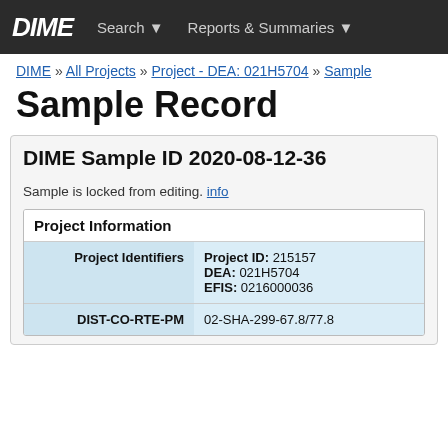DIME  Search ▾  Reports & Summaries ▾
DIME » All Projects » Project - DEA: 021H5704 » Sample
Sample Record
DIME Sample ID 2020-08-12-36
Sample is locked from editing. info
Project Information
|  |  |
| --- | --- |
| Project Identifiers | Project ID: 215157
DEA: 021H5704
EFIS: 0216000036 |
| DIST-CO-RTE-PM | 02-SHA-299-67.8/77.8 |